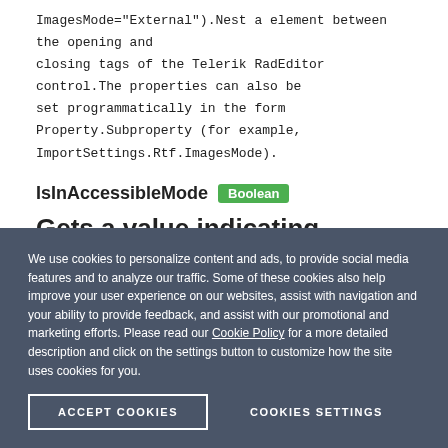ImagesMode="External").Nest a element between the opening and closing tags of the Telerik RadEditor control.The properties can also be set programmatically in the form Property.Subproperty (for example, ImportSettings.Rtf.ImagesMode).
IsInAccessibleMode Boolean
Gets a value indicating whether the editor is being rendered in accessible mode
REMARKS
We use cookies to personalize content and ads, to provide social media features and to analyze our traffic. Some of these cookies also help improve your user experience on our websites, assist with navigation and your ability to provide feedback, and assist with our promotional and marketing efforts. Please read our Cookie Policy for a more detailed description and click on the settings button to customize how the site uses cookies for you.
ACCEPT COOKIES   COOKIES SETTINGS